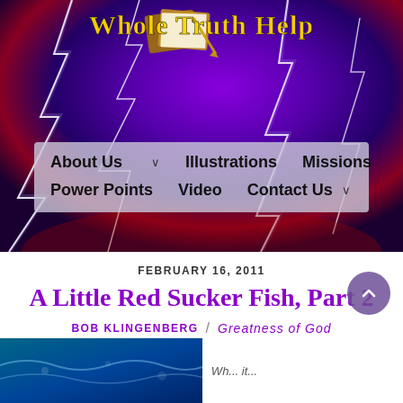[Figure (illustration): Website header banner with purple and dark background featuring lightning bolts, a bible image, and the site title 'Whole Truth Help' in gold text]
About Us  ∨    Illustrations    Missions
Power Points    Video    Contact Us  ∨
FEBRUARY 16, 2011
A Little Red Sucker Fish, Part 2
BOB KLINGENBERG / Greatness of God
[Figure (photo): Bottom partial image strip showing an underwater or ocean scene]